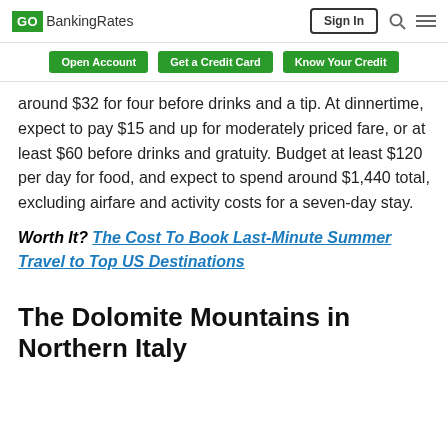GO BankingRates | Sign In
Open Account | Get a Credit Card | Know Your Credit
around $32 for four before drinks and a tip. At dinnertime, expect to pay $15 and up for moderately priced fare, or at least $60 before drinks and gratuity. Budget at least $120 per day for food, and expect to spend around $1,440 total, excluding airfare and activity costs for a seven-day stay.
Worth It? The Cost To Book Last-Minute Summer Travel to Top US Destinations
The Dolomite Mountains in Northern Italy